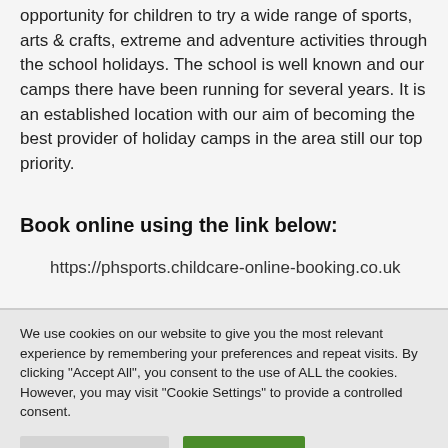opportunity for children to try a wide range of sports, arts & crafts, extreme and adventure activities through the school holidays. The school is well known and our camps there have been running for several years. It is an established location with our aim of becoming the best provider of holiday camps in the area still our top priority.
Book online using the link below:
https://phsports.childcare-online-booking.co.uk
We use cookies on our website to give you the most relevant experience by remembering your preferences and repeat visits. By clicking "Accept All", you consent to the use of ALL the cookies. However, you may visit "Cookie Settings" to provide a controlled consent.